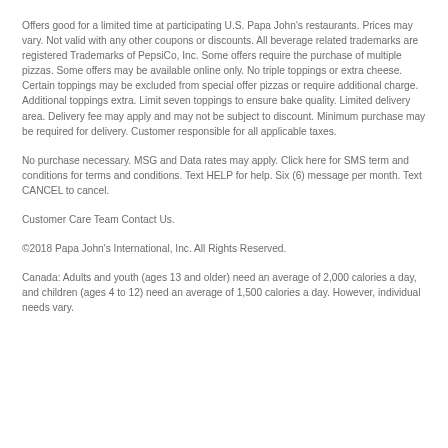Offers good for a limited time at participating U.S. Papa John's restaurants. Prices may vary. Not valid with any other coupons or discounts. All beverage related trademarks are registered Trademarks of PepsiCo, Inc. Some offers require the purchase of multiple pizzas. Some offers may be available online only. No triple toppings or extra cheese. Certain toppings may be excluded from special offer pizzas or require additional charge. Additional toppings extra. Limit seven toppings to ensure bake quality. Limited delivery area. Delivery fee may apply and may not be subject to discount. Minimum purchase may be required for delivery. Customer responsible for all applicable taxes.
No purchase necessary. MSG and Data rates may apply. Click here for SMS term and conditions for terms and conditions. Text HELP for help. Six (6) message per month. Text CANCEL to cancel.
Customer Care Team Contact Us.
©2018 Papa John's International, Inc. All Rights Reserved.
Canada: Adults and youth (ages 13 and older) need an average of 2,000 calories a day, and children (ages 4 to 12) need an average of 1,500 calories a day. However, individual needs vary.